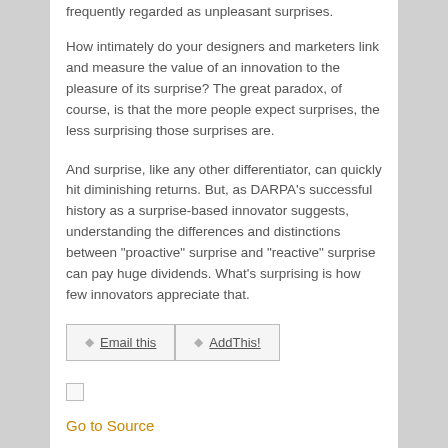frequently regarded as unpleasant surprises.
How intimately do your designers and marketers link and measure the value of an innovation to the pleasure of its surprise? The great paradox, of course, is that the more people expect surprises, the less surprising those surprises are.
And surprise, like any other differentiator, can quickly hit diminishing returns. But, as DARPA’s successful history as a surprise-based innovator suggests, understanding the differences and distinctions between “proactive” surprise and “reactive” surprise can pay huge dividends. What’s surprising is how few innovators appreciate that.
[Figure (other): Two buttons: 'Email this' and 'AddThis!' with diamond bullet icons, styled as a button row.]
[Figure (other): A small checkbox (unchecked).]
Go to Source
RELATED POSTS